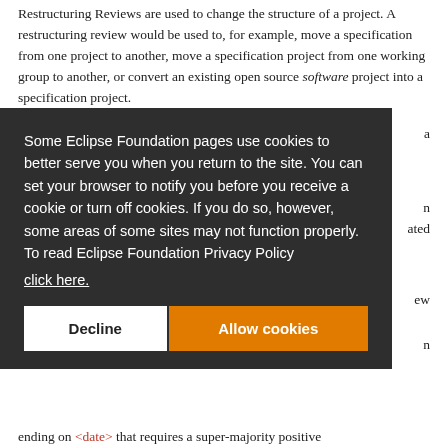Restructuring Reviews are used to change the structure of a project. A restructuring review would be used to, for example, move a specification from one project to another, move a specification project from one working group to another, or convert an existing open source software project into a specification project.
Some Eclipse Foundation pages use cookies to better serve you when you return to the site. You can set your browser to notify you before you receive a cookie or turn off cookies. If you do so, however, some areas of some sites may not function properly. To read Eclipse Foundation Privacy Policy click here.
Decline | Allow cookies
ending on <date> that requires a super-majority positive